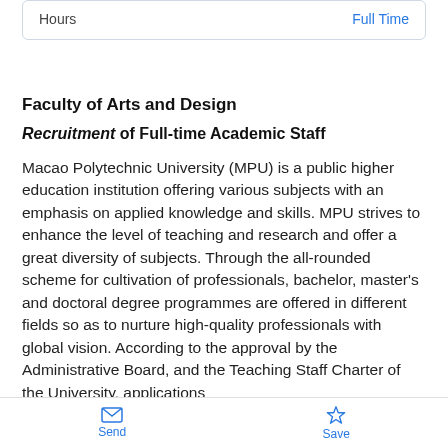| Hours | Full Time |
| --- | --- |
Faculty of Arts and Design
Recruitment of Full-time Academic Staff
Macao Polytechnic University (MPU) is a public higher education institution offering various subjects with an emphasis on applied knowledge and skills. MPU strives to enhance the level of teaching and research and offer a great diversity of subjects. Through the all-rounded scheme for cultivation of professionals, bachelor, master's and doctoral degree programmes are offered in different fields so as to nurture high-quality professionals with global vision. According to the approval by the Administrative Board, and the Teaching Staff Charter of the University, applications
Send   Save